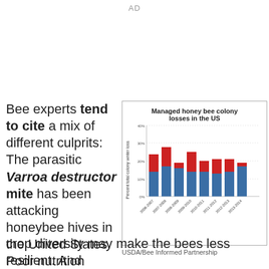AD
Bee experts tend to cite a mix of different culprits: The parasitic Varroa destructor mite has been attacking honeybee hives in the United States. Poor nutrition caused by a lack of crop diversity may make the bees less resilient. And
[Figure (stacked-bar-chart): Managed honey bee colony losses in the US]
USDA/Bee Informed Partnership